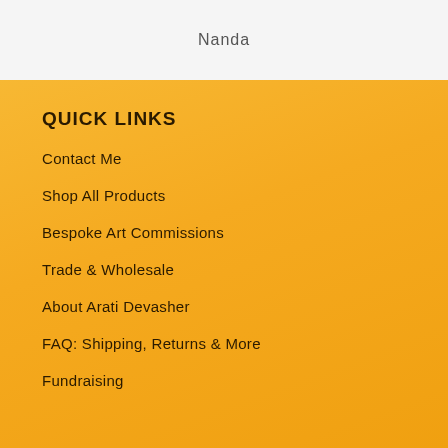Nanda
QUICK LINKS
Contact Me
Shop All Products
Bespoke Art Commissions
Trade & Wholesale
About Arati Devasher
FAQ: Shipping, Returns & More
Fundraising